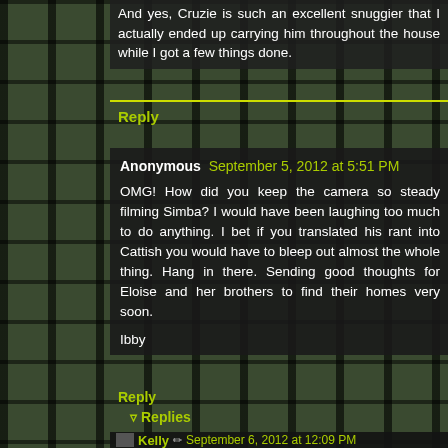And yes, Cruzie is such an excellent snuggier that I actually ended up carrying him throughout the house while I got a few things done.
Reply
Anonymous  September 5, 2012 at 5:51 PM
OMG! How did you keep the camera so steady filming Simba? I would have been laughing too much to do anything. I bet if you translated his rant into Cattish you would have to bleep out almost the whole thing. Hang in there. Sending good thoughts for Eloise and her brothers to find their homes very soon.

Ibby
Reply
Replies
Kelly  September 6, 2012 at 12:09 PM